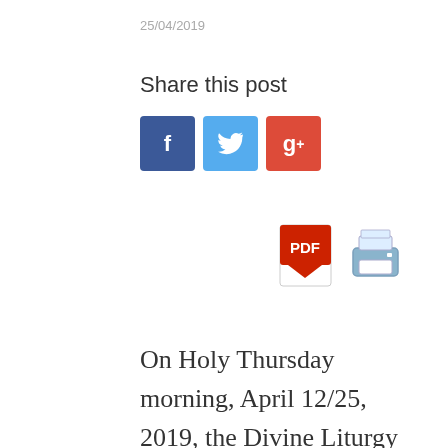25/04/2019
Share this post
[Figure (other): Social share buttons: Facebook (blue), Twitter (light blue), Google+ (red)]
[Figure (other): PDF icon and printer icon for download/print options]
On Holy Thursday morning, April 12/25, 2019, the Divine Liturgy of St. Basil the Great was celebrated at the Holy Cathedral of St. James the Brother of God, led by H.H.B. our Father and Patriarch of